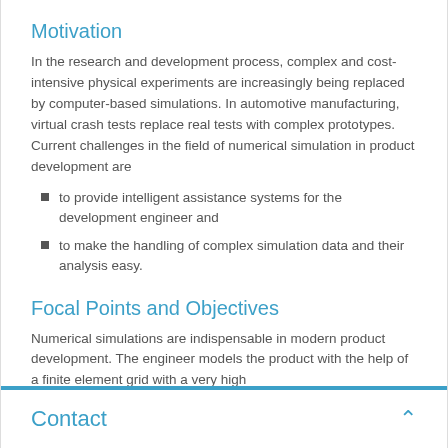Motivation
In the research and development process, complex and cost-intensive physical experiments are increasingly being replaced by computer-based simulations. In automotive manufacturing, virtual crash tests replace real tests with complex prototypes. Current challenges in the field of numerical simulation in product development are
to provide intelligent assistance systems for the development engineer and
to make the handling of complex simulation data and their analysis easy.
Focal Points and Objectives
Numerical simulations are indispensable in modern product development. The engineer models the product with the help of a finite element grid with a very high
Contact